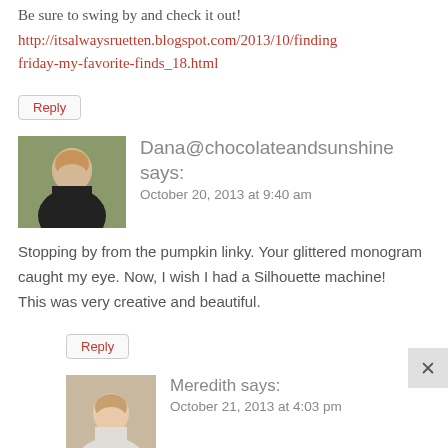Be sure to swing by and check it out!
http://itsalwaysruetten.blogspot.com/2013/10/finding friday-my-favorite-finds_18.html
Reply
Dana@chocolateandsunshine says:
October 20, 2013 at 9:40 am
Stopping by from the pumpkin linky. Your glittered monogram caught my eye. Now, I wish I had a Silhouette machine!
This was very creative and beautiful.
Reply
Meredith says:
October 21, 2013 at 4:03 pm
Hi Dana, thanks for visiting and following! I have to tell you, I didn't know how much I needed a Silhouette until I got one..the crafting possibilities are endless! There are